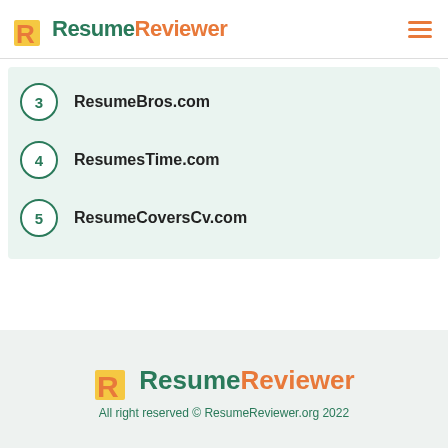ResumeReviewer
3  ResumeBros.com
4  ResumesTime.com
5  ResumeCoversCv.com
ResumeReviewer
All right reserved © ResumeReviewer.org 2022